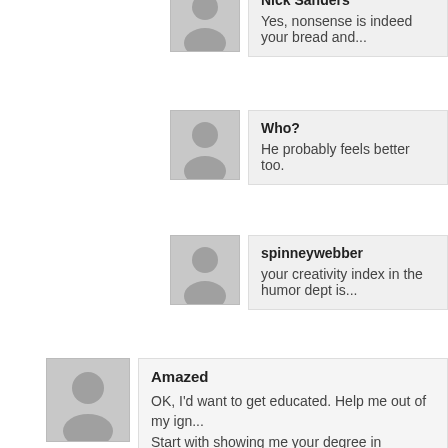Nick Sanders
Yes, nonsense is indeed your bread and...
Who?
He probably feels better too.
spinneywebber
your creativity index in the humor dept is...
Amazed
OK, I'd want to get educated. Help me out of my ign... Start with showing me your degree in immunology.
angela coral eisenhauer (fb)
You only got 2 out of 5. try harder. You are not e...